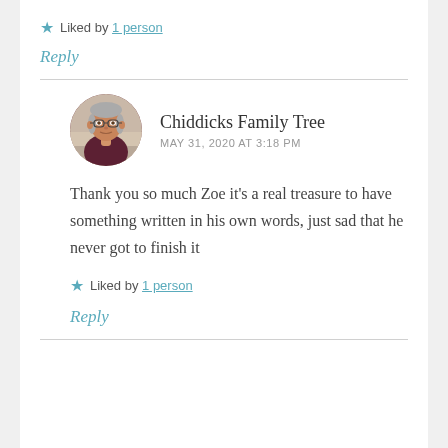★ Liked by 1 person
Reply
[Figure (photo): Circular avatar photo of a man wearing glasses and a dark shirt, seated indoors]
Chiddicks Family Tree
MAY 31, 2020 AT 3:18 PM
Thank you so much Zoe it's a real treasure to have something written in his own words, just sad that he never got to finish it
★ Liked by 1 person
Reply